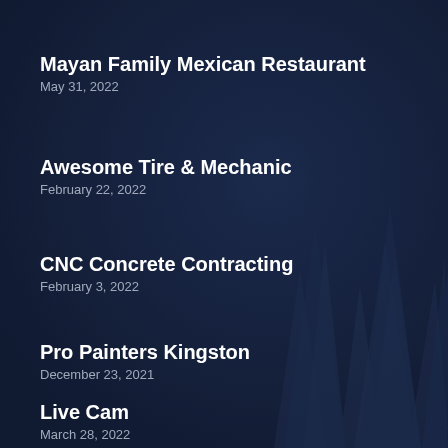Mayan Family Mexican Restaurant
May 31, 2022
Awesome Tire & Mechanic
February 22, 2022
CNC Concrete Contracting
February 3, 2022
Pro Painters Kingston
December 23, 2021
Live Cam
March 28, 2022